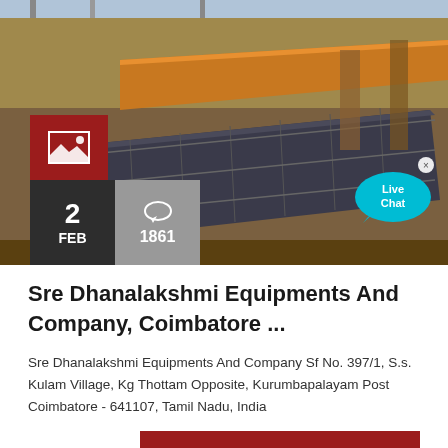[Figure (photo): Industrial equipment photo showing metal conveyor or screening machine in a workshop/factory setting with orange beam and steel structures. Overlaid with red image icon placeholder box, dark date box showing '2 FEB', gray comments box showing speech bubble icon and '1861', and a cyan Live Chat speech bubble in top right.]
Sre Dhanalakshmi Equipments And Company, Coimbatore ...
Sre Dhanalakshmi Equipments And Company Sf No. 397/1, S.s. Kulam Village, Kg Thottam Opposite, Kurumbapalayam Post Coimbatore - 641107, Tamil Nadu, India
CONTACT US